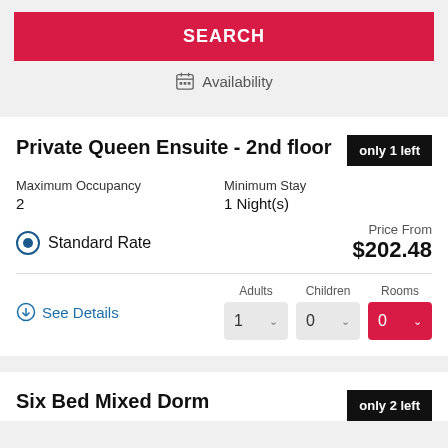SEARCH
Availability
Private Queen Ensuite - 2nd floor
only 1 left
Maximum Occupancy
2
Minimum Stay
1 Night(s)
Price From
$202.48
Standard Rate
See Details
Adults 1  Children 0  Rooms 0
Six Bed Mixed Dorm
only 2 left